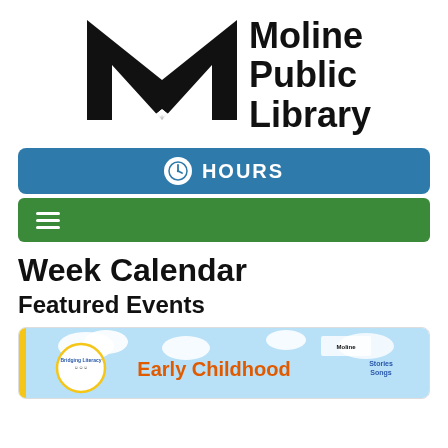[Figure (logo): Moline Public Library logo: black M shape with radiating sunburst lines at the bottom center, next to bold black text reading 'Moline Public Library']
[Figure (screenshot): Blue rounded button bar with a white clock icon and white bold text 'HOURS']
[Figure (screenshot): Green navigation bar with three horizontal white lines (hamburger menu icon)]
Week Calendar
Featured Events
[Figure (illustration): Event card with a yellow left accent stripe and a colorful event banner image showing 'Early Childhood' text with Bridging Literacy logo and Moline Public Library branding on a light blue sky background with clouds]